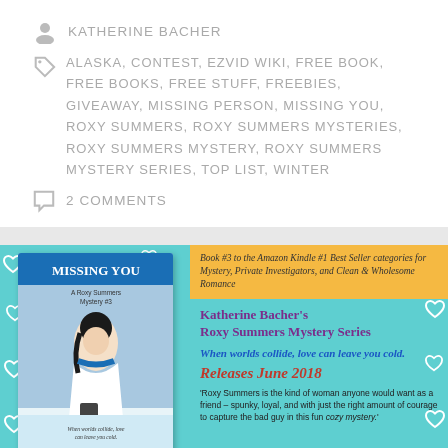KATHERINE BACHER
ALASKA, CONTEST, EZVID WIKI, FREE BOOK, FREE BOOKS, FREE STUFF, FREEBIES, GIVEAWAY, MISSING PERSON, MISSING YOU, ROXY SUMMERS, ROXY SUMMERS MYSTERIES, ROXY SUMMERS MYSTERY, ROXY SUMMERS MYSTERY SERIES, TOP LIST, WINTER
2 COMMENTS
[Figure (infographic): Book promotion graphic for 'Missing You' by Katherine Bacher, Roxy Summers Mystery Series #3. Teal/turquoise background with heart decorations. Left side shows book cover. Right side has yellow banner noting Amazon Kindle #1 Best Seller categories, purple bold text for author and series name, blue italic tagline 'When worlds collide, love can leave you cold.', red cursive 'Releases June 2018', and a reader quote at the bottom.]